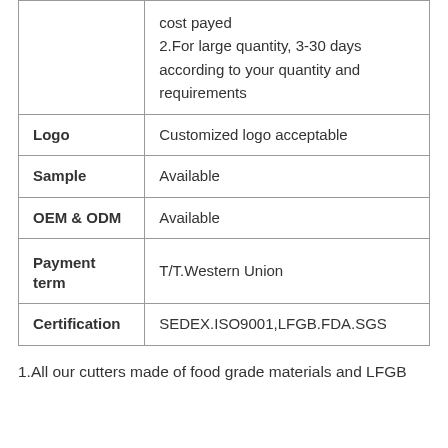|  | cost payed
2.For large quantity, 3-30 days according to your quantity and requirements |
| Logo | Customized logo acceptable |
| Sample | Available |
| OEM & ODM | Available |
| Payment term | T/T.Western Union |
| Certification | SEDEX.ISO9001,LFGB.FDA.SGS |
1.All our cutters made of food grade materials and LFGB approved to be 100% free of toxins.